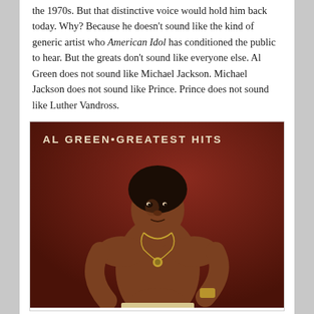the 1970s. But that distinctive voice would hold him back today. Why? Because he doesn't sound like the kind of generic artist who American Idol has conditioned the public to hear. But the greats don't sound like everyone else. Al Green does not sound like Michael Jackson. Michael Jackson does not sound like Prince. Prince does not sound like Luther Vandross.
[Figure (photo): Album cover of 'AL GREEN • GREATEST HITS' featuring a shirtless Al Green wearing a necklace, posed with hands clasped, against a dark brown/maroon background.]